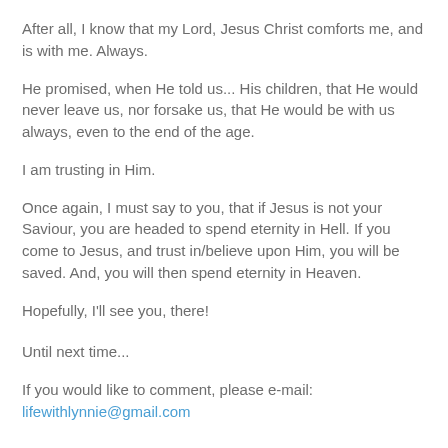After all, I know that my Lord, Jesus Christ comforts me, and is with me.  Always.
He promised, when He told us... His children, that He would never leave us, nor forsake us, that He would be with us always, even to the end of the age.
I am trusting in Him.
Once again, I must say to you, that if Jesus is not your Saviour, you are headed to spend eternity in Hell.  If you come to Jesus, and trust in/believe upon Him, you will be saved.  And, you will then spend eternity in Heaven.
Hopefully, I'll see you, there!
Until next time...
If you would like to comment, please e-mail: lifewithlynnie@gmail.com